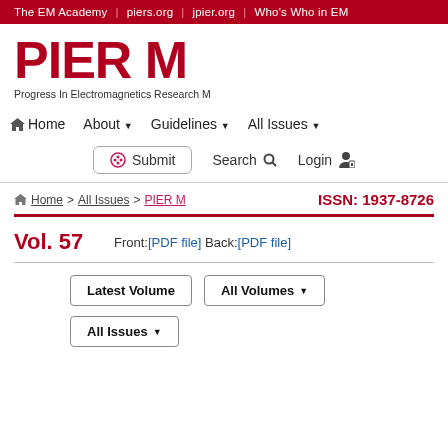The EM Academy | piers.org | jpier.org | Who's Who in EM
PIER M
Progress In Electromagnetics Research M
Home  About  Guidelines  All Issues
Submit  Search  Login
Home > All Issues > PIER M   ISSN: 1937-8726
Vol. 57
Front:[PDF file] Back:[PDF file]
Latest Volume   All Volumes   All Issues